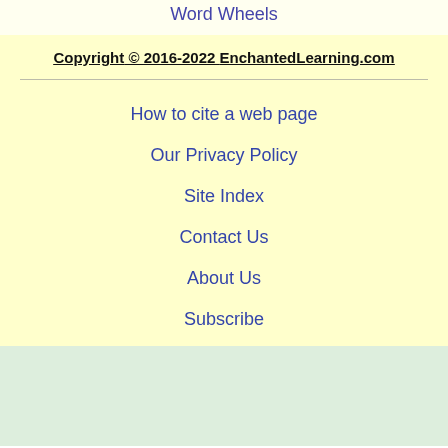Word Wheels
Copyright © 2016-2022 EnchantedLearning.com
How to cite a web page
Our Privacy Policy
Site Index
Contact Us
About Us
Subscribe